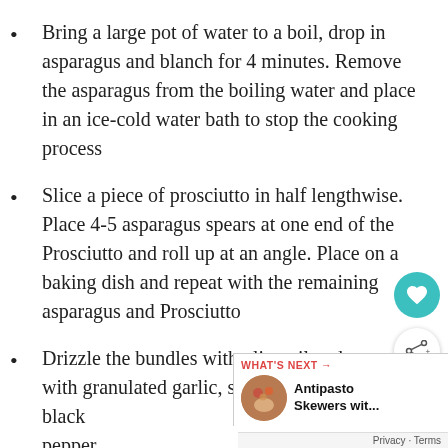Bring a large pot of water to a boil, drop in asparagus and blanch for 4 minutes. Remove the asparagus from the boiling water and place in an ice-cold water bath to stop the cooking process
Slice a piece of prosciutto in half lengthwise. Place 4-5 asparagus spears at one end of the Prosciutto and roll up at an angle. Place on a baking dish and repeat with the remaining asparagus and Prosciutto
Drizzle the bundles with olive oil and season with granulated garlic, salt, and freshly ground black pepper.
Bake for 4-5 minutes until the prosciutto and asparagus is hot but the prosciutto is no...